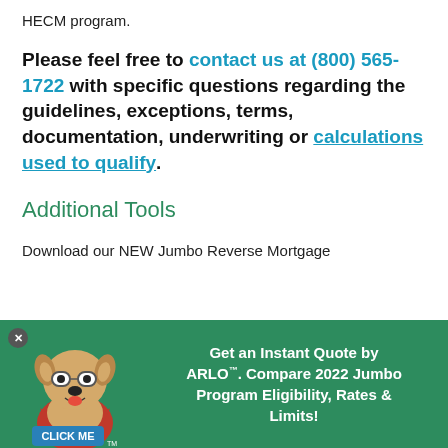HECM program.
Please feel free to contact us at (800) 565-1722 with specific questions regarding the guidelines, exceptions, terms, documentation, underwriting or calculations used to qualify.
Additional Tools
Download our NEW Jumbo Reverse Mortgage
[Figure (infographic): Promotional banner with green background featuring a cartoon dog mascot wearing glasses and a red cape with a 'Click Me' sign, alongside text: Get an Instant Quote by ARLO™. Compare 2022 Jumbo Program Eligibility, Rates & Limits!]